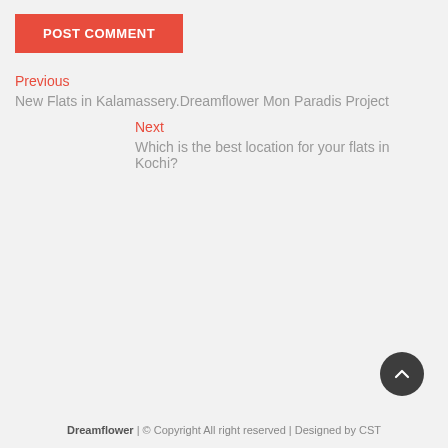POST COMMENT
Previous
New Flats in Kalamassery.Dreamflower Mon Paradis Project
Next
Which is the best location for your flats in Kochi?
Dreamflower | © Copyright All right reserved | Designed by CST